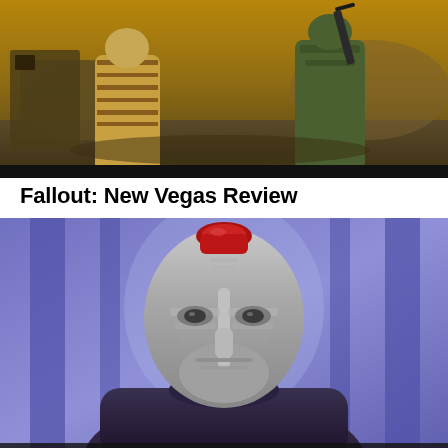[Figure (screenshot): Screenshot from Fallout: New Vegas showing two characters in a post-apocalyptic wasteland environment. One character on the left has a striped/tiger-patterned outfit, the other on the right wears green military-style armor and holds a weapon. Rocky terrain and abandoned structures visible in the background with a warm sunset-like lighting.]
Fallout: New Vegas Review
[Figure (screenshot): Screenshot showing a close-up of an alien/non-human face wearing a dark helmet or mask with metallic grey/silver finish and distinctive facial markings or ridges. The character has a red crest or fin on top of the head. Background shows a blueish-purple interior setting with vertical architectural elements. This appears to be from the Mass Effect video game series.]